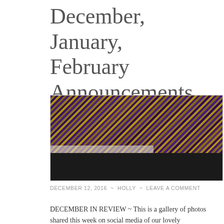December, January, February Announcements
[Figure (photo): Close-up photo of a purple and gold/yellow knitted or woven textile/blanket being held up or displayed, with a person wearing black pants and boots visible below, and a room with white curtains and an orange/wood surface in the background.]
DECEMBER 12, 2016 ~ HOLLY ~ LEAVE A COMMENT
DECEMBER IN REVIEW ~ This is a gallery of photos shared this week on social media of our lovely